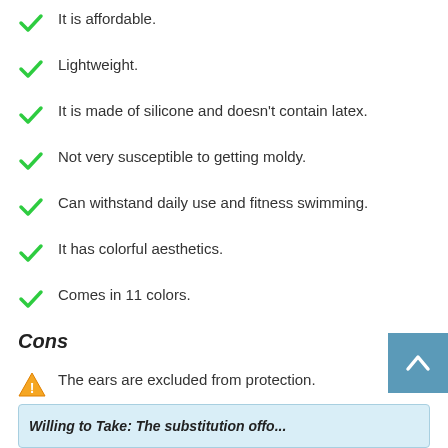It is affordable.
Lightweight.
It is made of silicone and doesn't contain latex.
Not very susceptible to getting moldy.
Can withstand daily use and fitness swimming.
It has colorful aesthetics.
Comes in 11 colors.
Cons
The ears are excluded from protection.
Willing to Take: The substitution offo...